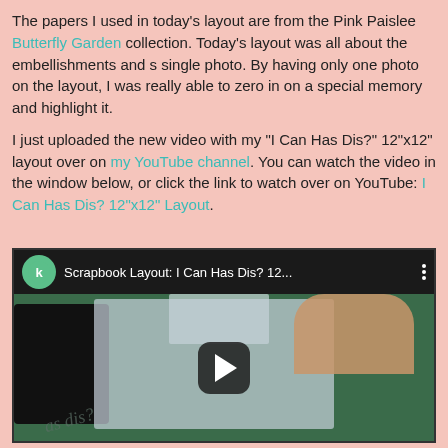The papers I used in today's layout are from the Pink Paislee Butterfly Garden collection. Today's layout was all about the embellishments and s single photo. By having only one photo on the layout, I was really able to zero in on a special memory and highlight it.
I just uploaded the new video with my "I Can Has Dis?" 12"x12" layout over on my YouTube channel. You can watch the video in the window below, or click the link to watch over on YouTube: I Can Has Dis? 12"x12" Layout.
[Figure (screenshot): Embedded YouTube video player showing a scrapbooking layout in progress. Top bar shows channel logo (green circle with K), video title 'Scrapbook Layout: I Can Has Dis? 12...', and a three-dot menu. The thumbnail shows hands working on a scrapbook layout on a green cutting mat, with a keyboard visible on the left. A play button is centered on the thumbnail.]